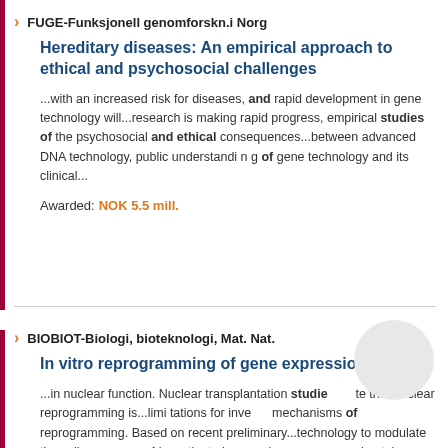FUGE-Funksjonell genomforskn.i Norg
Hereditary diseases: An empirical approach to ethical and psychosocial challenges
...with an increased risk for diseases, and rapid development in gene technology will...research is making rapid progress, empirical studies of the psychosocial and ethical consequences...between advanced DNA technology, public understandi n g of gene technology and its clinical...
Awarded:  NOK 5.5 mill.
BIOBIOT-Biologi, bioteknologi, Mat. Nat.
In vitro reprogramming of gene expression
...in nuclear function. Nuclear transplantation studies indicate that nuclear reprogramming is...limi tations for investigating mechanisms of reprogramming. Based on recent preliminary...technology to modulate the cell program and investigate how nuclear reprogramming takes...